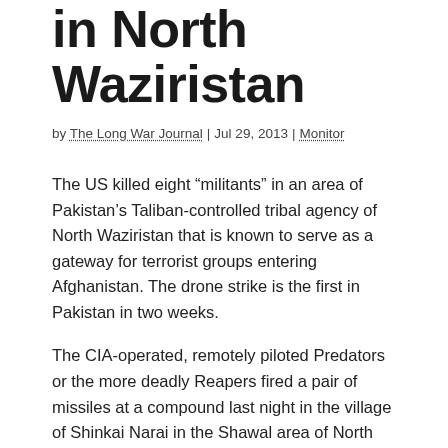in North Waziristan
by The Long War Journal | Jul 29, 2013 | Monitor
The US killed eight “militants” in an area of Pakistan’s Taliban-controlled tribal agency of North Waziristan that is known to serve as a gateway for terrorist groups entering Afghanistan. The drone strike is the first in Pakistan in two weeks.
The CIA-operated, remotely piloted Predators or the more deadly Reapers fired a pair of missiles at a compound last night in the village of Shinkai Narai in the Shawal area of North Waziristan. The strike took place as the fighters were preparing to break